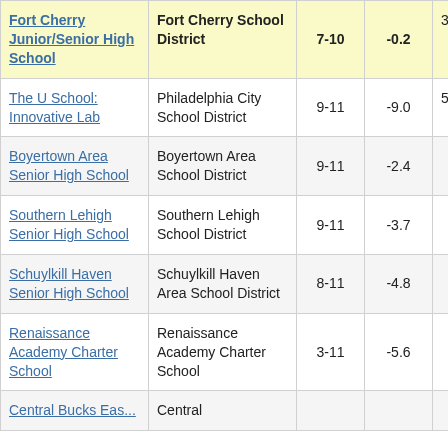| School | District | Grades | Change |  |
| --- | --- | --- | --- | --- |
| Fort Cherry Junior/Senior High School | Fort Cherry School District | 7-10 | -0.2 | 3 |
| The U School: Innovative Lab | Philadelphia City School District | 9-11 | -9.0 | 5 |
| Boyertown Area Senior High School | Boyertown Area School District | 9-11 | -2.4 |  |
| Southern Lehigh Senior High School | Southern Lehigh School District | 9-11 | -3.7 |  |
| Schuylkill Haven Senior High School | Schuylkill Haven Area School District | 8-11 | -4.8 |  |
| Renaissance Academy Charter School | Renaissance Academy Charter School | 3-11 | -5.6 |  |
| Central Bucks East... | Central... |  |  |  |